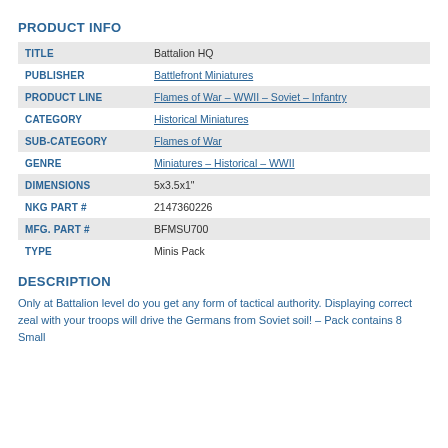PRODUCT INFO
| TITLE | Battalion HQ |
| PUBLISHER | Battlefront Miniatures |
| PRODUCT LINE | Flames of War – WWII – Soviet – Infantry |
| CATEGORY | Historical Miniatures |
| SUB-CATEGORY | Flames of War |
| GENRE | Miniatures – Historical – WWII |
| DIMENSIONS | 5x3.5x1" |
| NKG PART # | 2147360226 |
| MFG. PART # | BFMSU700 |
| TYPE | Minis Pack |
DESCRIPTION
Only at Battalion level do you get any form of tactical authority. Displaying correct zeal with your troops will drive the Germans from Soviet soil! – Pack contains 8 Small